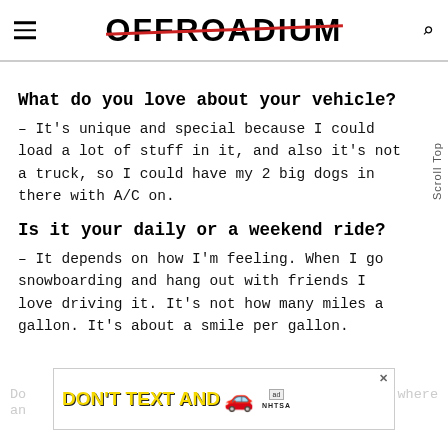OFFROADIUM
What do you love about your vehicle?
– It's unique and special because I could load a lot of stuff in it, and also it's not a truck, so I could have my 2 big dogs in there with A/C on.
Is it your daily or a weekend ride?
– It depends on how I'm feeling. When I go snowboarding and hang out with friends I love driving it. It's not how many miles a gallon. It's about a smile per gallon.
[Figure (screenshot): Ad banner: DON'T TEXT AND [car emoji] with NHTSA logo]